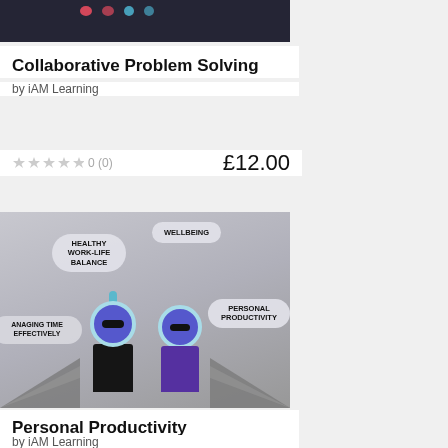[Figure (illustration): Course thumbnail image for Collaborative Problem Solving, dark background with colored character dots]
Collaborative Problem Solving
by iAM Learning
0 (0)   £12.00
[Figure (illustration): Course thumbnail for Personal Productivity showing two blue cartoon characters in dark coats with speech bubbles: Healthy Work-Life Balance, Wellbeing, Managing Time Effectively, Personal Productivity]
Personal Productivity
by iAM Learning